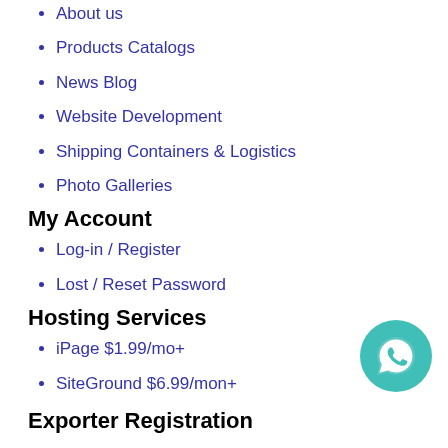About us
Products Catalogs
News Blog
Website Development
Shipping Containers & Logistics
Photo Galleries
My Account
Log-in / Register
Lost / Reset Password
Hosting Services
iPage $1.99/mo+
SiteGround $6.99/mon+
Exporter Registration